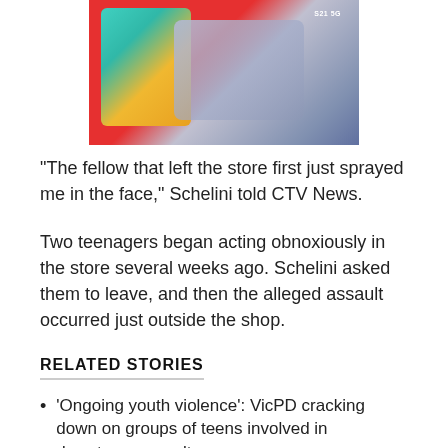[Figure (photo): Photo of Samsung Galaxy S21 5G smartphones arranged at angles, showing colorful screens and red and silver device colors]
"The fellow that left the store first just sprayed me in the face," Schelini told CTV News.
Two teenagers began acting obnoxiously in the store several weeks ago. Schelini asked them to leave, and then the alleged assault occurred just outside the shop.
RELATED STORIES
'Ongoing youth violence': VicPD cracking down on groups of teens involved in downtown assaults